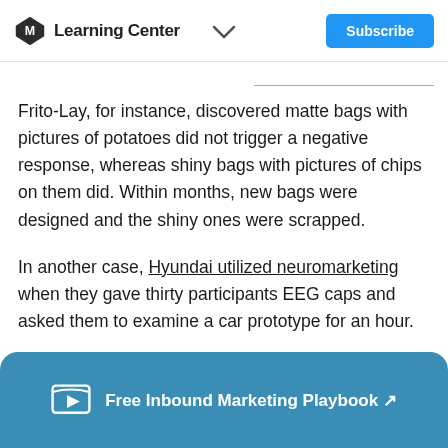Learning Center
Frito-Lay, for instance, discovered matte bags with pictures of potatoes did not trigger a negative response, whereas shiny bags with pictures of chips on them did. Within months, new bags were designed and the shiny ones were scrapped.
In another case, Hyundai utilized neuromarketing when they gave thirty participants EEG caps and asked them to examine a car prototype for an hour.
Last, but not least, PayPal discovered that
Free Inbound Marketing Playbook ↗